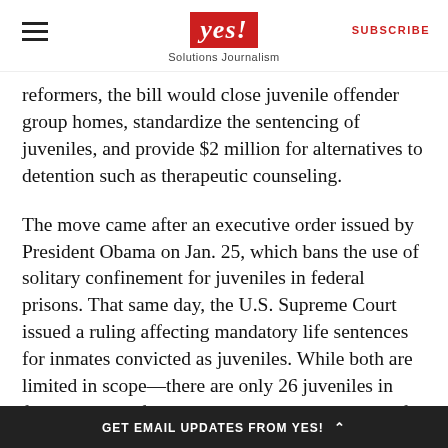yes! Solutions Journalism | SUBSCRIBE
reformers, the bill would close juvenile offender group homes, standardize the sentencing of juveniles, and provide $2 million for alternatives to detention such as therapeutic counseling.
The move came after an executive order issued by President Obama on Jan. 25, which bans the use of solitary confinement for juveniles in federal prisons. That same day, the U.S. Supreme Court issued a ruling affecting mandatory life sentences for inmates convicted as juveniles. While both are limited in scope—there are only 26 juveniles in federal prison, for example—advocates are hopeful for the future.
“The president’s decision was an enormous display
GET EMAIL UPDATES FROM YES! ⌃